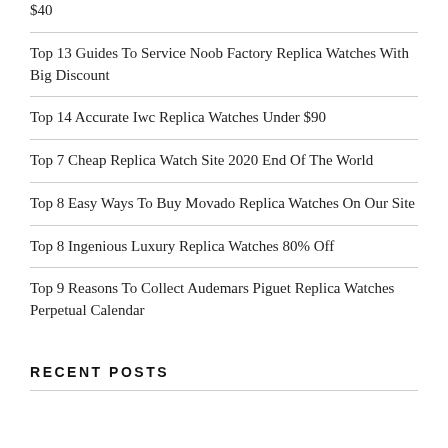$40
Top 13 Guides To Service Noob Factory Replica Watches With Big Discount
Top 14 Accurate Iwc Replica Watches Under $90
Top 7 Cheap Replica Watch Site 2020 End Of The World
Top 8 Easy Ways To Buy Movado Replica Watches On Our Site
Top 8 Ingenious Luxury Replica Watches 80% Off
Top 9 Reasons To Collect Audemars Piguet Replica Watches Perpetual Calendar
RECENT POSTS